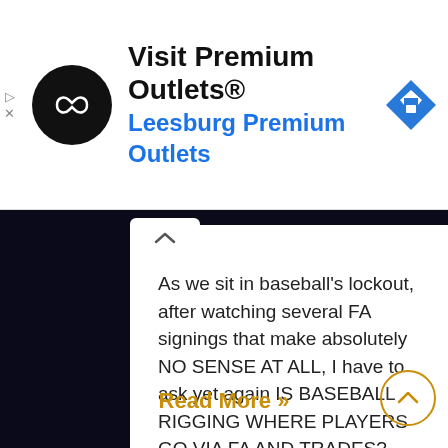[Figure (screenshot): Advertisement banner with black circular logo containing a white infinity/link symbol, bold text 'Visit Premium Outlets®', blue text 'Leesburg Premium Outlets', and a blue diamond navigation arrow on the right. Small play and X icons on the left edge.]
As we sit in baseball's lockout, after watching several FA signings that make absolutely NO SENSE AT ALL, I have to ask yet again IS BASEBALL RIGGING WHERE PLAYERS GO VIA FA AND TRADES? Nothing else actually makes sense with Corey Seager and Max Scherzer. Or several others! We know fort a fact baseball is [...]
Read More »